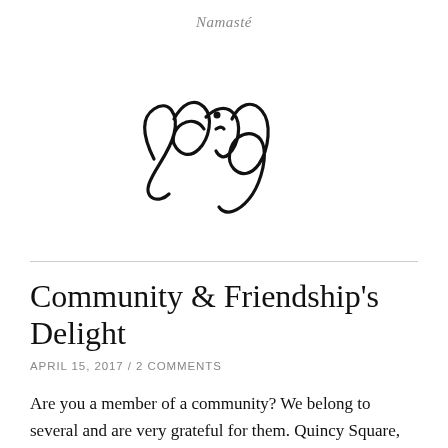Namasté
[Figure (illustration): A handwritten cursive signature in black ink on white background]
Community & Friendship's Delight
APRIL 15, 2017 / 2 COMMENTS
Are you a member of a community? We belong to several and are very grateful for them. Quincy Square, Pinecrest, Friends of Bill W, and more. Here